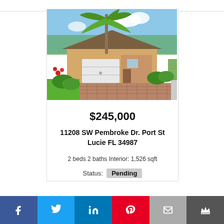[Figure (photo): Exterior photo of a single-story Florida home with palm tree, white garage door, brick paver driveway, and tropical landscaping]
$245,000
11208 SW Pembroke Dr. Port St Lucie FL 34987
2 beds 2 baths Interior: 1,526 sqft
Status: Pending
Social share bar: Facebook, Twitter, LinkedIn, Pinterest, Email, Crown